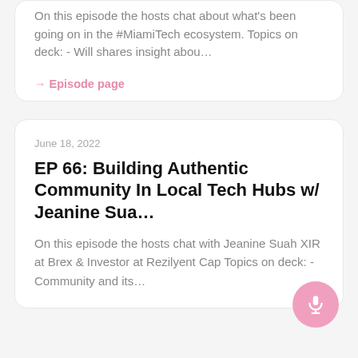On this episode the hosts chat about what's been going on in the #MiamiTech ecosystem. Topics on deck: - Will shares insight abou…
→ Episode page
June 18, 2022
EP 66: Building Authentic Community In Local Tech Hubs w/ Jeanine Sua…
On this episode the hosts chat with Jeanine Suah XIR at Brex & Investor at Rezilyent Cap Topics on deck: - Community and its…